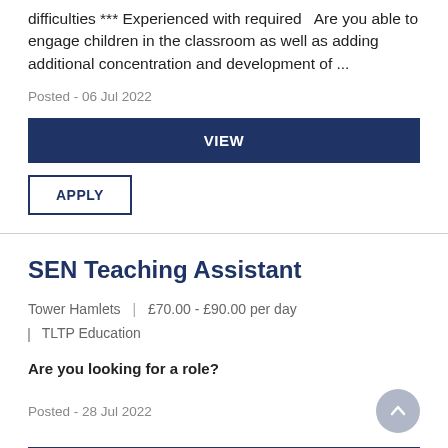difficulties *** Experienced with required   Are you able to engage children in the classroom as well as adding additional concentration and development of ...
Posted - 06 Jul 2022
VIEW
APPLY
SEN Teaching Assistant
Tower Hamlets | £70.00 - £90.00 per day | TLTP Education
Are you looking for a role?
Posted - 28 Jul 2022
VIEW
APPLY